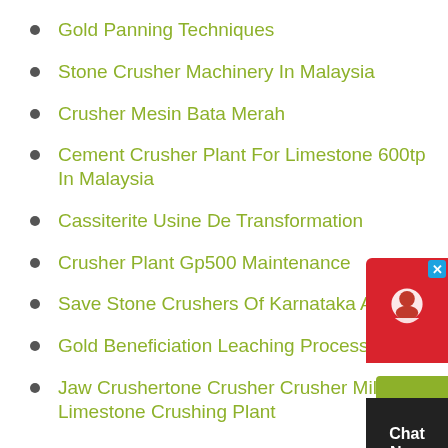Gold Panning Techniques
Stone Crusher Machinery In Malaysia
Crusher Mesin Bata Merah
Cement Crusher Plant For Limestone 600tp In Malaysia
Cassiterite Usine De Transformation
Crusher Plant Gp500 Maintenance
Save Stone Crushers Of Karnataka Act
Gold Beneficiation Leaching Process
Jaw Crushertone Crusher Crusher Mill For Limestone Crushing Plant